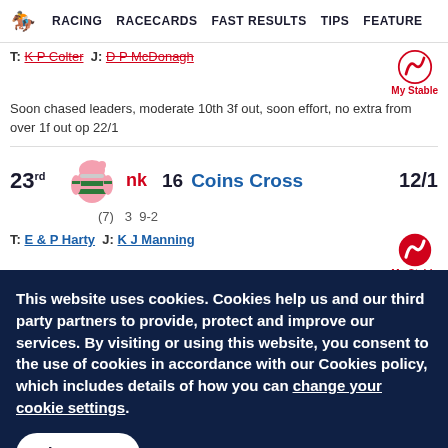RACING  RACECARDS  FAST RESULTS  TIPS  FEATURE
T: K P Colter  J: D P McDonagh
Soon chased leaders, moderate 10th 3f out, soon effort, no extra from over 1f out op 22/1
23rd  nk  16  Coins Cross  12/1
(7)  3  9-2
T: E & P Harty  J: K J Manning
Soon mid-division and pushed along at stages, moderate
This website uses cookies. Cookies help us and our third party partners to provide, protect and improve our services. By visiting or using this website, you consent to the use of cookies in accordance with our Cookies policy, which includes details of how you can change your cookie settings.
I accept